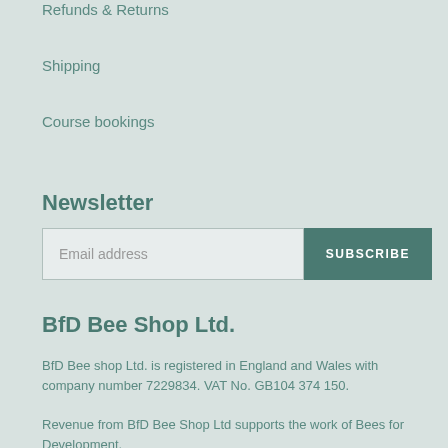Refunds & Returns
Shipping
Course bookings
Newsletter
[Figure (other): Email address input field with SUBSCRIBE button]
BfD Bee Shop Ltd.
BfD Bee shop Ltd. is registered in England and Wales with company number 7229834. VAT No. GB104 374 150.
Revenue from BfD Bee Shop Ltd supports the work of Bees for Development.